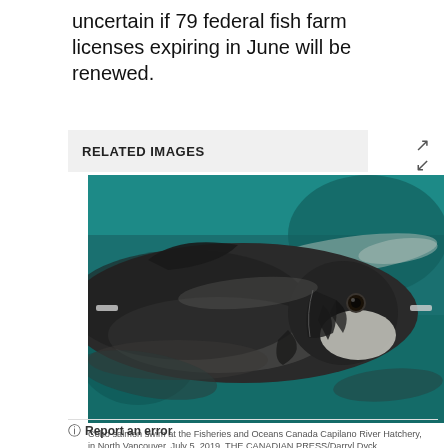uncertain if 79 federal fish farm licenses expiring in June will be renewed.
RELATED IMAGES
[Figure (photo): Close-up of a Coho salmon swimming underwater, photographed from the side showing its head and scales against a blurred teal/green underwater background with other fish visible.]
Coho salmon swim at the Fisheries and Oceans Canada Capilano River Hatchery, in North Vancouver, July 5, 2019. THE CANADIAN PRESS/Darryl Dyck
Report an error